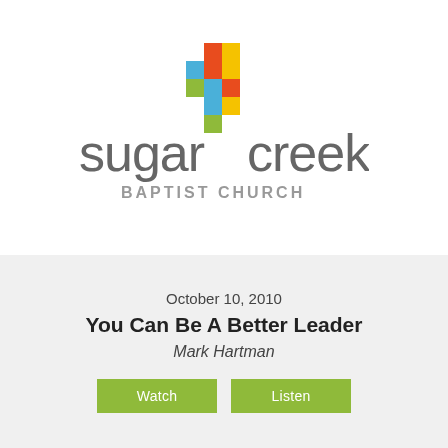[Figure (logo): Sugar Creek Baptist Church logo with colorful cross made of stacked colored blocks (orange, yellow, blue, green) and text 'sugar creek' in large gray lowercase letters with 'BAPTIST CHURCH' below in smaller gray uppercase letters]
October 10, 2010
You Can Be A Better Leader
Mark Hartman
Watch    Listen